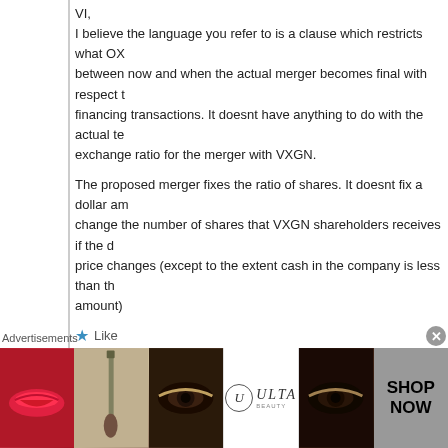VI,
I believe the language you refer to is a clause which restricts what OXG between now and when the actual merger becomes final with respect to financing transactions. It doesnt have anything to do with the actual te exchange ratio for the merger with VXGN.
The proposed merger fixes the ratio of shares. It doesnt fix a dollar am change the number of shares that VXGN shareholders receives if the price changes (except to the extent cash in the company is less than th amount)
Like
Value Investor on October 19, 2009 a
Steve,
Part of the text I referred to is the clause which restricts what OXGN is now until the merger.
BUT, the terms of the exchange ratio are not quaranteed to be .47
Advertisements
[Figure (photo): ULTA beauty advertisement banner with cosmetics imagery including lips, makeup brush, eye makeup, ULTA logo, and SHOP NOW text]